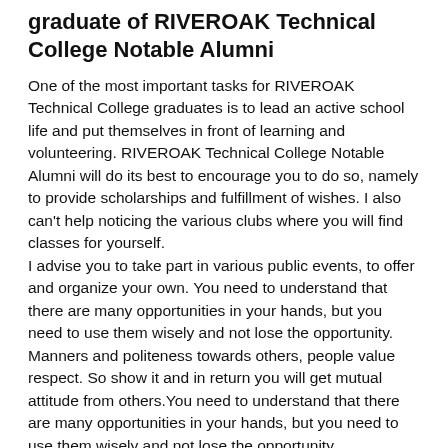graduate of RIVEROAK Technical College Notable Alumni
One of the most important tasks for RIVEROAK Technical College graduates is to lead an active school life and put themselves in front of learning and volunteering. RIVEROAK Technical College Notable Alumni will do its best to encourage you to do so, namely to provide scholarships and fulfillment of wishes. I also can't help noticing the various clubs where you will find classes for yourself.
I advise you to take part in various public events, to offer and organize your own. You need to understand that there are many opportunities in your hands, but you need to use them wisely and not lose the opportunity. Manners and politeness towards others, people value respect. So show it and in return you will get mutual attitude from others.You need to understand that there are many opportunities in your hands, but you need to use them wisely and not lose the opportunity.
There are many ways to become a famous RIVEROAK Technical College notable alumni. But in front of yourself, do